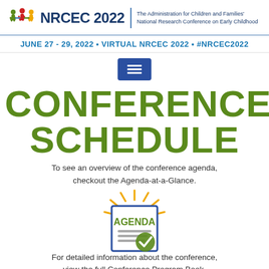NRCEC 2022 | The Administration for Children and Families' National Research Conference on Early Childhood
JUNE 27 - 29, 2022 • VIRTUAL NRCEC 2022 • #NRCEC2022
[Figure (other): Hamburger menu button icon (blue rectangle with three white horizontal lines)]
CONFERENCE SCHEDULE
To see an overview of the conference agenda, checkout the Agenda-at-a-Glance.
[Figure (illustration): Illustrated agenda book with orange rays/sparkles behind it and a green checkmark overlay]
For detailed information about the conference, view the full Conference Program Book.